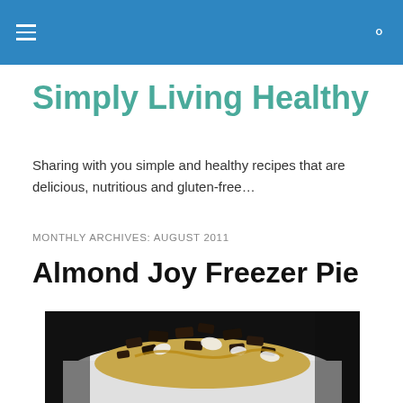Simply Living Healthy - navigation header
Simply Living Healthy
Sharing with you simple and healthy recipes that are delicious, nutritious and gluten-free…
MONTHLY ARCHIVES: AUGUST 2011
Almond Joy Freezer Pie
[Figure (photo): Close-up photo of a dessert — Almond Joy Freezer Pie on a white plate, featuring chocolate chunks, caramel, and coconut pieces on a dark background.]